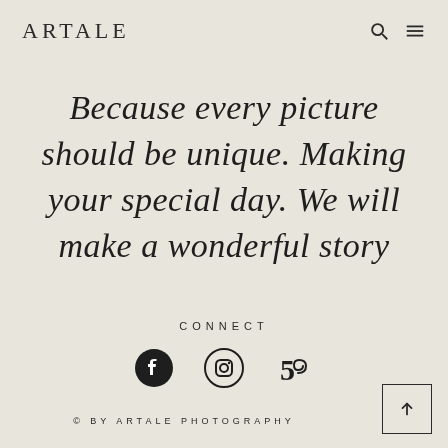ARTALE
Because every picture should be unique. Making your special day. We will make a wonderful story
CONNECT
[Figure (illustration): Three social media icons: Facebook, Instagram, and 500px (Fivehundredpx)]
© BY ARTALE PHOTOGRAPHY